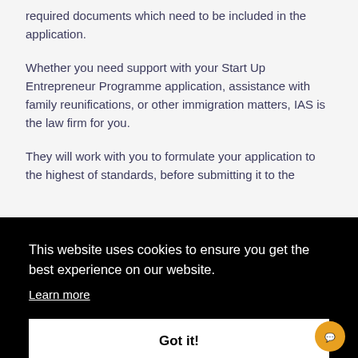required documents which need to be included in the application.
Whether you need support with your Start Up Entrepreneur Programme application, assistance with family reunifications, or other immigration matters, IAS is the law firm for you.
They will work with you to formulate your application to the highest of standards, before submitting it to the
This website uses cookies to ensure you get the best experience on our website.
Learn more
Got it!
qualify for your visa